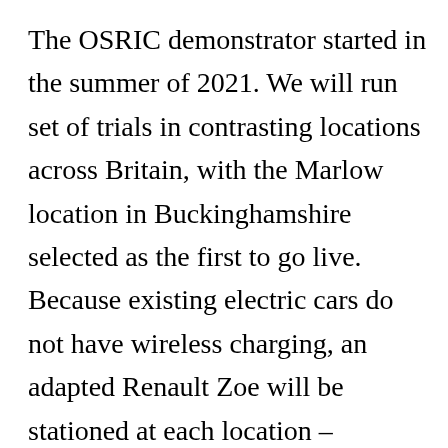The OSRIC demonstrator started in the summer of 2021. We will run set of trials in contrasting locations across Britain, with the Marlow location in Buckinghamshire selected as the first to go live. Because existing electric cars do not have wireless charging, an adapted Renault Zoe will be stationed at each location – available for hire from one hour to three days – so that residents can try it out and become familiar with how to charge it using the wireless induction pad. The trial will soon